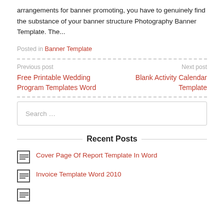arrangements for banner promoting, you have to genuinely find the substance of your banner structure Photography Banner Template. The...
Posted in Banner Template
Previous post
Free Printable Wedding Program Templates Word
Next post
Blank Activity Calendar Template
Search …
Recent Posts
Cover Page Of Report Template In Word
Invoice Template Word 2010